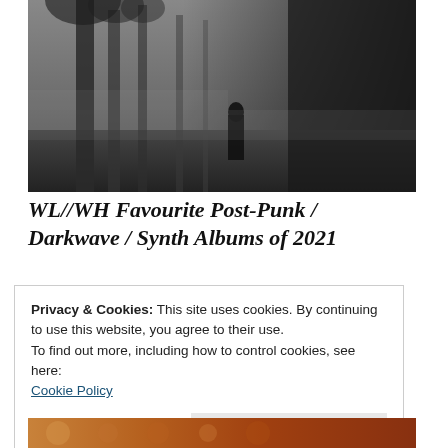[Figure (photo): Dark, moody black-and-white photo of a forest scene with tall trees and a silhouetted figure standing in the misty background]
WL//WH Favourite Post-Punk / Darkwave / Synth Albums of 2021
Privacy & Cookies: This site uses cookies. By continuing to use this website, you agree to their use.
To find out more, including how to control cookies, see here: Cookie Policy
Close and accept